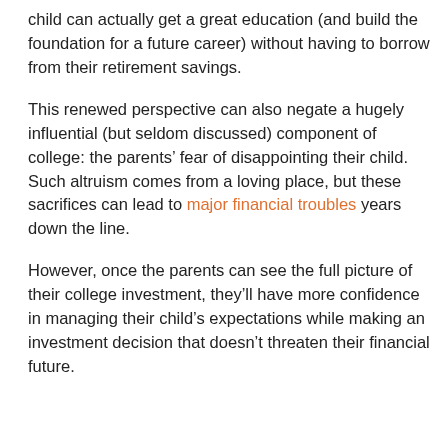child can actually get a great education (and build the foundation for a future career) without having to borrow from their retirement savings.
This renewed perspective can also negate a hugely influential (but seldom discussed) component of college: the parents' fear of disappointing their child. Such altruism comes from a loving place, but these sacrifices can lead to major financial troubles years down the line.
However, once the parents can see the full picture of their college investment, they'll have more confidence in managing their child's expectations while making an investment decision that doesn't threaten their financial future.